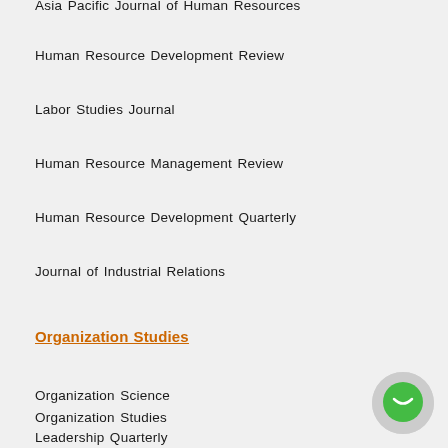Asia Pacific Journal of Human Resources
Human Resource Development Review
Labor Studies Journal
Human Resource Management Review
Human Resource Development Quarterly
Journal of Industrial Relations
Organization Studies
Organization Science
Organization Studies
Leadership Quarterly
Human Relations